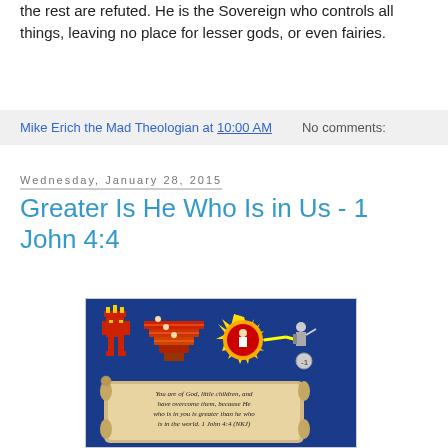the rest are refuted. He is the Sovereign who controls all things, leaving no place for lesser gods, or even fairies.
Mike Erich the Mad Theologian at 10:00 AM   No comments:
Wednesday, January 28, 2015
Greater Is He Who Is in Us - 1 John 4:4
[Figure (illustration): Illustration on a dark blue background showing cartoon-style figures including a red robot/idol, a red staircase structure, a yellow starburst with a figure, and a knight. Below is a scroll with the text: 'You are of God, little children, and have overcome them, because He who is in you is greater than he who is in the world. 1 John 4:4 (NKJ)']